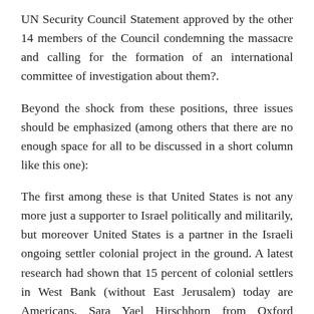UN Security Council Statement approved by the other 14 members of the Council condemning the massacre and calling for the formation of an international committee of investigation about them?.
Beyond the shock from these positions, three issues should be emphasized (among others that there are no enough space for all to be discussed in a short column like this one):
The first among these is that United States is not any more just a supporter to Israel politically and militarily, but moreover United States is a partner in the Israeli ongoing settler colonial project in the ground. A latest research had shown that 15 percent of colonial settlers in West Bank (without East Jerusalem) today are Americans. Sara Yael Hirschhorn from Oxford University presented these results showing that there are sixty thousand settlers in West Bank only ( without the inclusion of East Jerusalem), who are originally Americans. Therfore President Abbas was fully right to describe the move